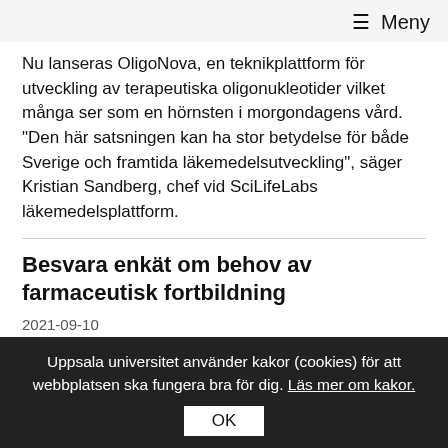≡ Meny
Nu lanseras OligoNova, en teknikplattform för utveckling av terapeutiska oligonukleotider vilket många ser som en hörnsten i morgondagens vård. "Den här satsningen kan ha stor betydelse för både Sverige och framtida läkemedelsutveckling", säger Kristian Sandberg, chef vid SciLifeLabs läkemedelsplattform.
Besvara enkät om behov av farmaceutisk fortbildning
2021-09-10
Inom vilka områden vill du kompetensutveckla dig? I syfte att kartlägga den farmaceutiska professionens behov av
Uppsala universitet använder kakor (cookies) för att webbplatsen ska fungera bra för dig. Läs mer om kakor.
OK